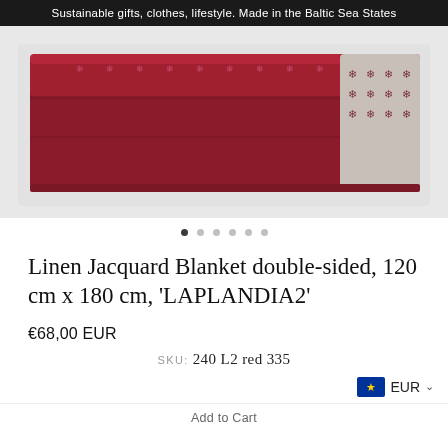Sustainable gifts, clothes, lifestyle. Made in the Baltic Sea States
[Figure (photo): A folded red and white linen jacquard blanket with snowflake pattern, photographed from above on a white background.]
Linen Jacquard Blanket double-sided, 120 cm x 180 cm, 'LAPLANDIA2'
€68,00 EUR
SKU: 240 L2 red 335